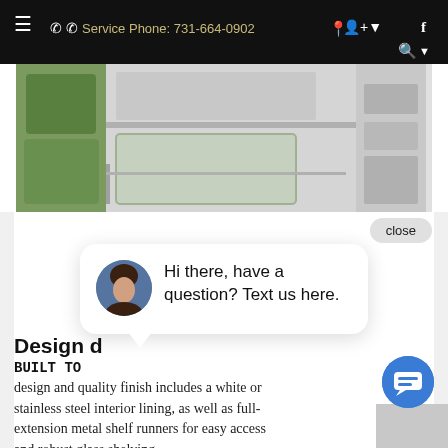≡  ☎ Service Phone: 731-664-0902  ⚲  👤▾  f  🔍▾
[Figure (photo): Interior view of a refrigerator showing shelves, stainless steel interior, and fresh produce/vegetables in a crisper drawer.]
close
Hi there, have a question? Text us here.
Design d
BUILT TO
design and quality finish includes a white or stainless steel interior lining, as well as full-extension metal shelf runners for easy access and robust glass shelving.